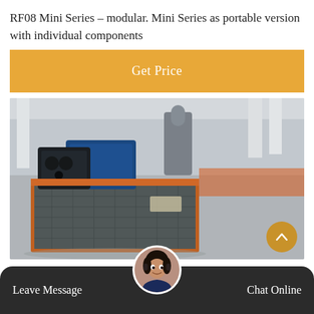RF08 Mini Series – modular. Mini Series as portable version with individual components
Get Price
[Figure (photo): Industrial refrigeration or compressor unit (RF08 Mini Series) on an orange metal frame with mesh grating, sitting in a large factory or warehouse space. Multiple components including cylindrical tanks and blue motor visible on top.]
Leave Message
Chat Online